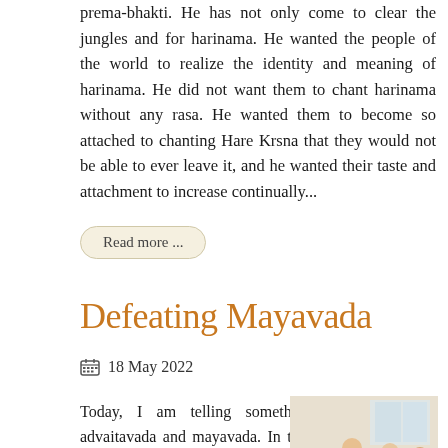prema-bhakti. He has not only come to clear the jungles and for harinama. He wanted the people of the world to realize the identity and meaning of harinama. He did not want them to chant harinama without any rasa. He wanted them to become so attached to chanting Hare Krsna that they would not be able to ever leave it, and he wanted their taste and attachment to increase continually...
Read more ...
Defeating Mayavada
18 May 2022
Today, I am telling something about advaitavada and mayavada. In the modern day,
[Figure (photo): A photograph showing people seated, appearing to be in a gathering or discourse setting with robes visible.]